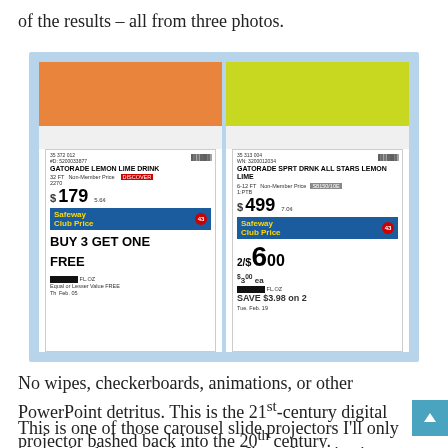of the results – all from three photos.
[Figure (photo): Two Safeway grocery store price tags side by side. Left tag shows Gatorade Lemon Lime Drink, 32 Fl Oz, $1.79 Non-Member Price, Safeway Club Price BUY 3 GET ONE FREE, Equal or Lesser Value FREE, expires Feb. 05. Right tag shows Gatorade Sport Drink All Stars Lemon Lime, 6-12 Fl Oz, $4.99 Non-Member Price, Safeway Club Price 2/$6.00, $3.00 ea, SAVE $3.98 on 2, Tue. Feb. 19.]
No wipes, checkerboards, animations, or other PowerPoint detritus. This is the 21st-century digital projector bashed back into the 20th century.
This is one of those carousel slide projectors I'll only pretend to have seen in person. I'm only projecting